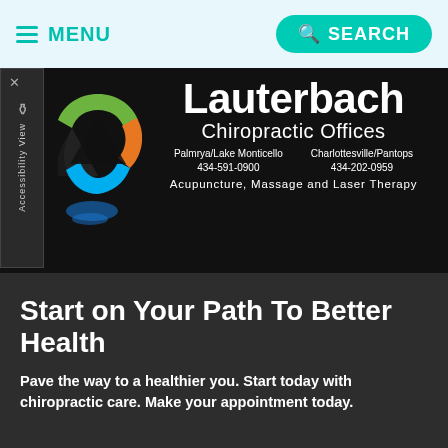MENU   SEARCH
[Figure (logo): Lauterbach Chiropractic Offices banner with logo (colorful triangular knot), location info for Palmyra/Lake Monticello (434-591-0900) and Charlottesville/Pantops (434-202-0959), and services: Acupuncture, Massage and Laser Therapy]
Start on Your Path To Better Health
Pave the way to a healthier you. Start today with chiropractic care. Make your appointment today.